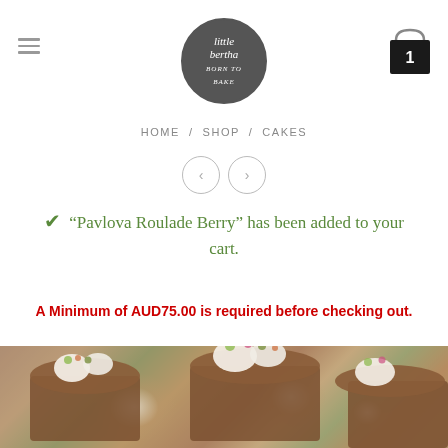[Figure (logo): Little Bertha bakery logo — circular dark badge with handwritten-style script text 'little bertha born to bake']
HOME / SHOP / CAKES
"Pavlova Roulade Berry" has been added to your cart.
A Minimum of AUD75.00 is required before checking out.
[Figure (photo): Close-up photo of small rectangular chocolate cakes topped with cream dollops and colorful edible flowers/toppings on a white plate]